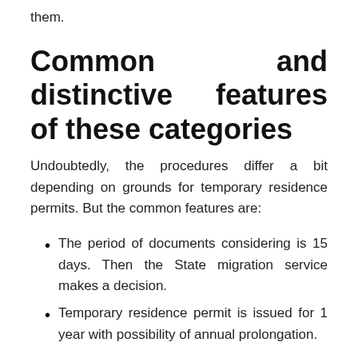them.
Common and distinctive features of these categories
Undoubtedly, the procedures differ a bit depending on grounds for temporary residence permits. But the common features are:
The period of documents considering is 15 days. Then the State migration service makes a decision.
Temporary residence permit is issued for 1 year with possibility of annual prolongation.